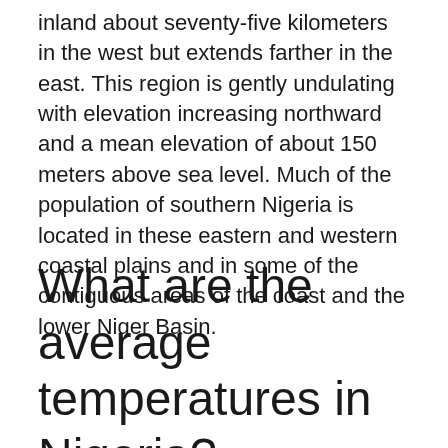inland about seventy-five kilometers in the west but extends farther in the east. This region is gently undulating with elevation increasing northward and a mean elevation of about 150 meters above sea level. Much of the population of southern Nigeria is located in these eastern and western coastal plains and in some of the contiguous areas of the coast and the lower Niger Basin.
What are the average temperatures in Nigeria?